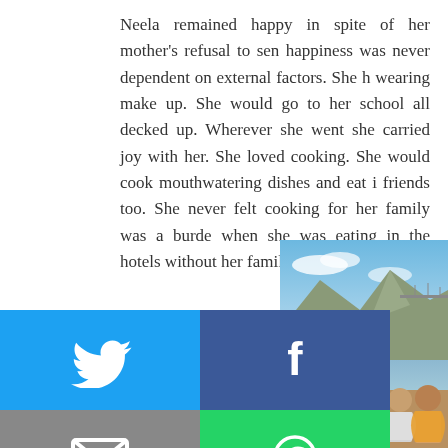Neela remained happy in spite of her mother's refusal to send... happiness was never dependent on external factors. She liked wearing make up. She would go to her school all decked up. Wherever she went she carried joy with her. She loved cooking. She would cook mouthwatering dishes and eat it with friends too. She never felt cooking for her family was a burden when she was eating in the hotels without her family.
[Figure (photo): Outdoor photograph showing a river, mountains, bridge, and people in the foreground]
[Figure (infographic): Social media sharing buttons grid: Twitter (blue), Facebook (dark blue), Email (grey), WhatsApp (green), SMS (blue), other icon (green)]